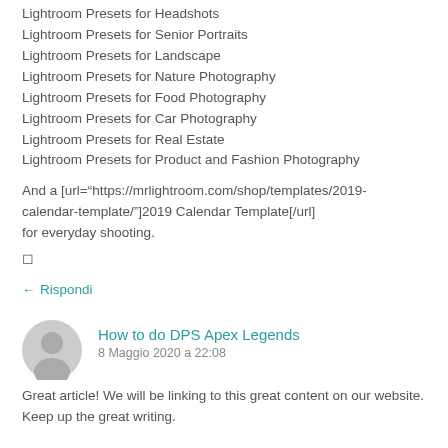Lightroom Presets for Headshots
Lightroom Presets for Senior Portraits
Lightroom Presets for Landscape
Lightroom Presets for Nature Photography
Lightroom Presets for Food Photography
Lightroom Presets for Car Photography
Lightroom Presets for Real Estate
Lightroom Presets for Product and Fashion Photography
And a [url="https://mrlightroom.com/shop/templates/2019-calendar-template/"]2019 Calendar Template[/url] for everyday shooting.
□
← Rispondi
How to do DPS Apex Legends
8 Maggio 2020 a 22:08
Great article! We will be linking to this great content on our website. Keep up the great writing.